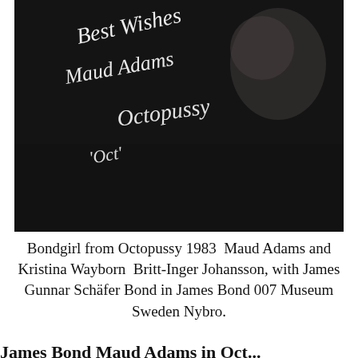[Figure (photo): A dark black-and-white photograph showing people, with a handwritten white autograph/inscription overlaid. The cursive handwriting appears to read something like 'Best Wishes' and 'Octopussy' along with other script text.]
Bondgirl from Octopussy 1983  Maud Adams and Kristina Wayborn  Britt-Inger Johansson, with James Gunnar Schäfer Bond in James Bond 007 Museum Sweden Nybro.